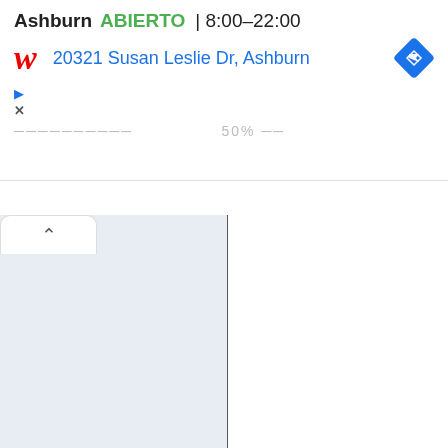Ashburn  ABIERTO  8:00–22:00
20321 Susan Leslie Dr, Ashburn
[Figure (screenshot): Screenshot of a mobile browser showing a Walgreens store listing with address, hours, navigation icon, and partially visible content below including a split-panel view with a light blue panel, white panel, and partial Vitruvian Man illustration on the right.]